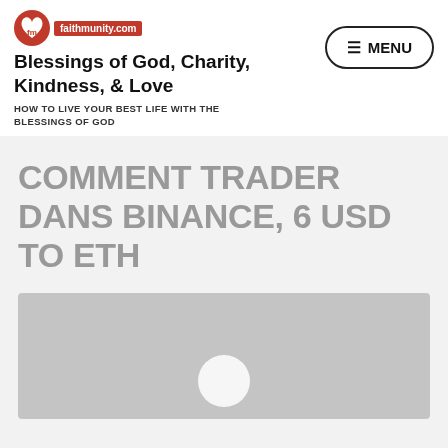faithmunity.com
Blessings of God, Charity, Kindness, & Love
HOW TO LIVE YOUR BEST LIFE WITH THE BLESSINGS OF GOD
COMMENT TRADER DANS BINANCE, 6 USD TO ETH
[Figure (photo): Gray placeholder image with a white play button circle at the bottom center]